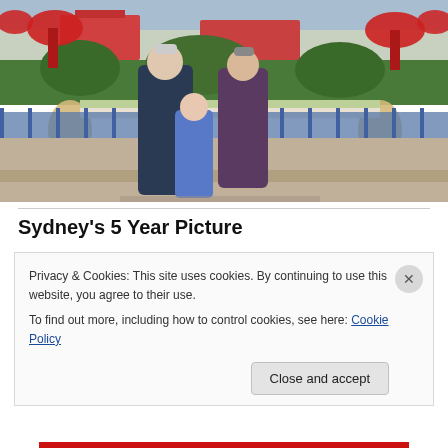[Figure (photo): Family of three (two adults and a child) posing at what appears to be a Disney theme park decorated for Christmas, with red bows, festive decorations, green hedges, and a blue fence visible in the background.]
Sydney's 5 Year Picture
Privacy & Cookies: This site uses cookies. By continuing to use this website, you agree to their use.
To find out more, including how to control cookies, see here: Cookie Policy
Close and accept